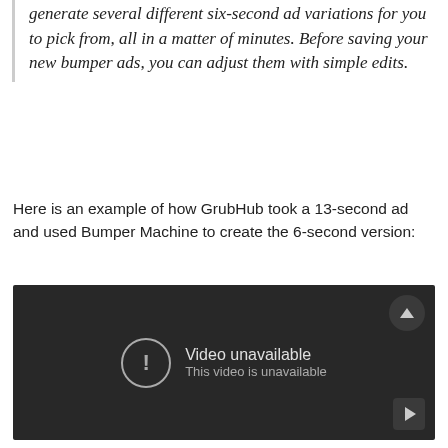generate several different six-second ad variations for you to pick from, all in a matter of minutes. Before saving your new bumper ads, you can adjust them with simple edits.
Here is an example of how GrubHub took a 13-second ad and used Bumper Machine to create the 6-second version:
[Figure (screenshot): Embedded YouTube video player showing 'Video unavailable - This video is unavailable' message on a dark background]
That's right: Bumper Machine can configure your